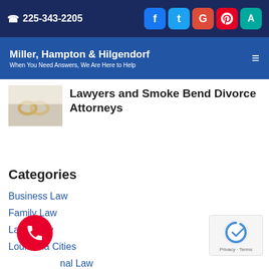📞 225-343-2205
Miller, Hampton & Hilgendorf — When You Need Answers, We Are Here to Help
Lawyers and Smoke Bend Divorce Attorneys
Categories
Business Law
Family Law
Labor Law
Louisiana Cities
Personal Law
Uncategorized